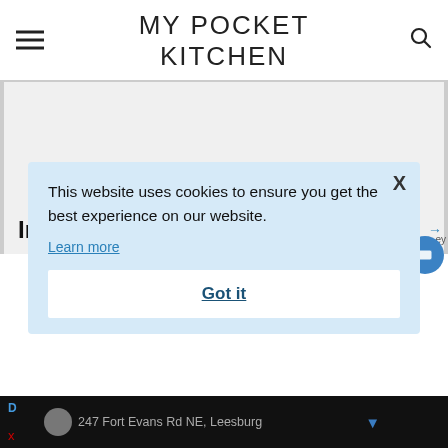MY POCKET KITCHEN
[Figure (screenshot): Light gray content placeholder area with partial bold text 'In' visible at bottom left, and a blue circular floating button at right]
This website uses cookies to ensure you get the best experience on our website.
Learn more
Got it
247 Fort Evans Rd NE, Leesburg